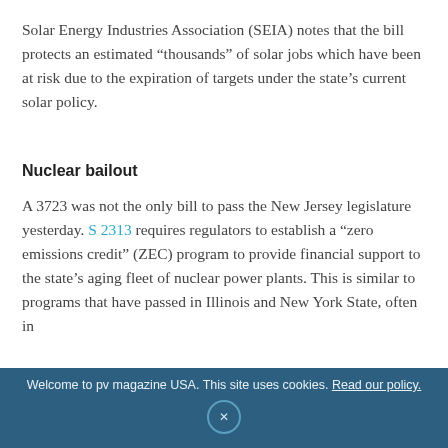Solar Energy Industries Association (SEIA) notes that the bill protects an estimated “thousands” of solar jobs which have been at risk due to the expiration of targets under the state’s current solar policy.
Nuclear bailout
A 3723 was not the only bill to pass the New Jersey legislature yesterday. S 2313 requires regulators to establish a “zero emissions credit” (ZEC) program to provide financial support to the state’s aging fleet of nuclear power plants. This is similar to programs that have passed in Illinois and New York State, often in
Welcome to pv magazine USA. This site uses cookies. Read our policy.